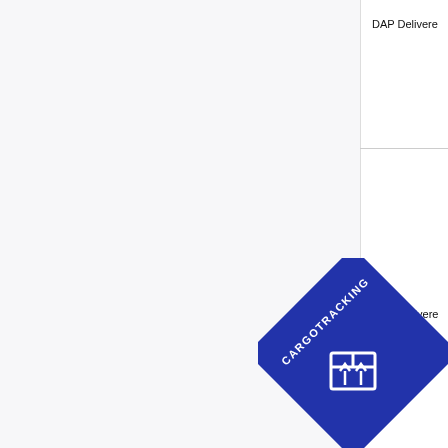DAP Delivere
DDP Delivere
[Figure (logo): CARGOTRACKING diamond-shaped blue logo with a white package/box icon in the center and white text 'CARGOTRACKING' along the top-left diagonal edge]